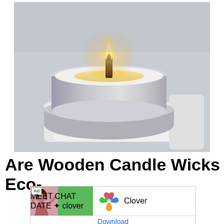[Figure (photo): Close-up photo of a lit candle in a round concrete/marble holder placed on a white tray. The candle has a wooden wick and the wax is partially melted forming a golden pool around the flame.]
Are Wooden Candle Wicks Eco-
[Figure (screenshot): Mobile advertisement banner for Clover dating app. Shows 'Ad' label, a woman photo, green block with 'MEET CHAT DATE' and Clover logo text, Clover four-leaf logo icon in red/yellow/green/blue, the text 'Clover', and a 'Download' link in blue.]